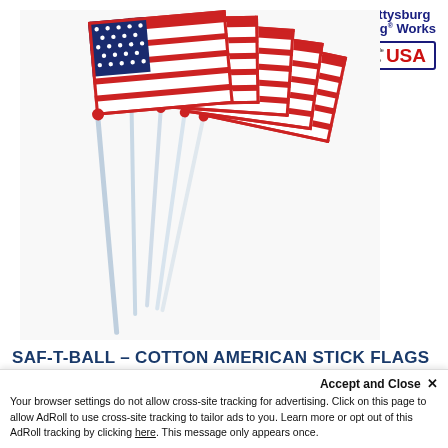[Figure (logo): Gettysburg Flag Works logo with red/gray horizontal stripes and 'Made in the USA' blue bordered badge]
[Figure (photo): Multiple small American stick flags with red ball tops and clear plastic sticks, fanned out in a bundle]
SAF-T-BALL – COTTON AMERICAN STICK FLAGS
Details
Accept and Close ✕
Your browser settings do not allow cross-site tracking for advertising. Click on this page to allow AdRoll to use cross-site tracking to tailor ads to you. Learn more or opt out of this AdRoll tracking by clicking here. This message only appears once.